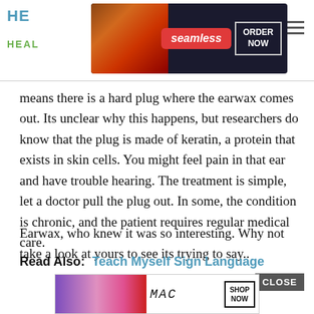HE... HEAL... [website header with ads]
[Figure (screenshot): Seamless food delivery ad banner with pizza image, ORDER NOW button]
means there is a hard plug where the earwax comes out. Its unclear why this happens, but researchers do know that the plug is made of keratin, a protein that exists in skin cells. You might feel pain in that ear and have trouble hearing. The treatment is simple, let a doctor pull the plug out. In some, the condition is chronic, and the patient requires regular medical care.
Earwax, who knew it was so interesting. Why not take a look at yours to see its trying to say..
Read Also:  Teach Myself Sign Language
[Figure (screenshot): MAC cosmetics ad banner with lipstick products, SHOP NOW button, CLOSE button]